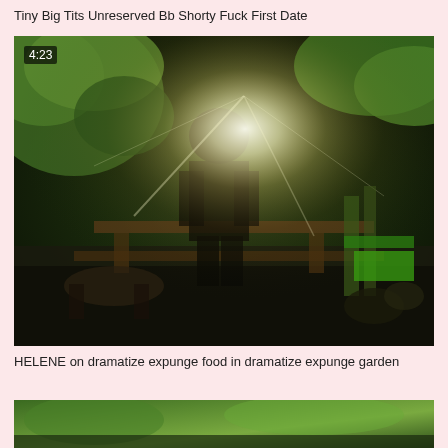Tiny Big Tits Unreserved Bb Shorty Fuck First Date
[Figure (photo): Outdoor scene with a person standing near a wooden picnic table in a garden/shed area, sunlight beaming from behind, lush green trees and foliage visible, green structure on right, timestamp 4:23 in top left corner]
HELENE on dramatize expunge food in dramatize expunge garden
[Figure (photo): Partial view of another outdoor/garden thumbnail at the bottom of the page]